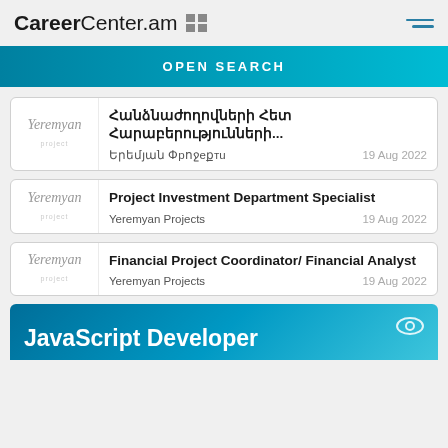CareerCenter.am
OPEN SEARCH
Հանձնաժողովների Հետ Հարաբերությունների... Երեմյան Փրոջեքțu 19 Aug 2022
Project Investment Department Specialist
Yeremyan Projects 19 Aug 2022
Financial Project Coordinator/ Financial Analyst
Yeremyan Projects 19 Aug 2022
JavaScript Developer